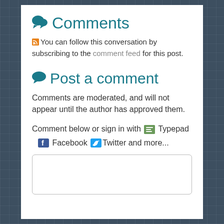Comments
You can follow this conversation by subscribing to the comment feed for this post.
Post a comment
Comments are moderated, and will not appear until the author has approved them.
Comment below or sign in with Typepad Facebook Twitter and more...
[Figure (other): Comment text input box]